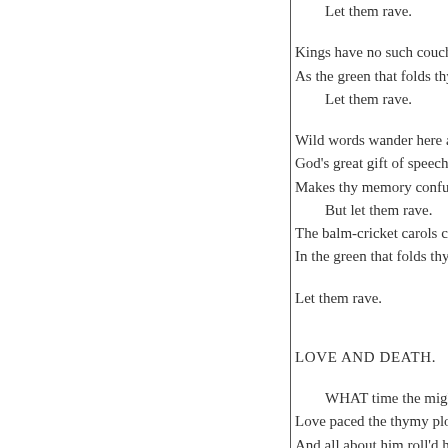Let them rave.

Kings have no such couch
As the green that folds thy
Let them rave.

Wild words wander here a
God's great gift of speech a
Makes thy memory confu
But let them rave.
The balm-cricket carols cl
In the green that folds thy

Let them rave.
LOVE AND DEATH.
WHAT time the mighty m
Love paced the thymy plot
And all about him roll'd hi
When, turning round a cas

Death, walking all alone b
And talking to himself, firs